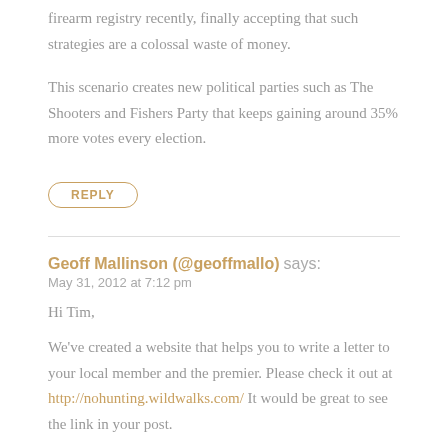firearm registry recently, finally accepting that such strategies are a colossal waste of money.
This scenario creates new political parties such as The Shooters and Fishers Party that keeps gaining around 35% more votes every election.
REPLY
Geoff Mallinson (@geoffmallo) says:
May 31, 2012 at 7:12 pm
Hi Tim,
We've created a website that helps you to write a letter to your local member and the premier. Please check it out at http://nohunting.wildwalks.com/ It would be great to see the link in your post.